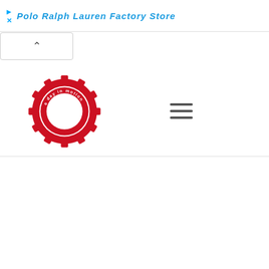Polo Ralph Lauren Factory Store
[Figure (logo): A day in motion logo — red gear/cog wheel with circular arrows and text 'a day in motion' inside]
[Figure (other): Hamburger menu icon — three horizontal lines]